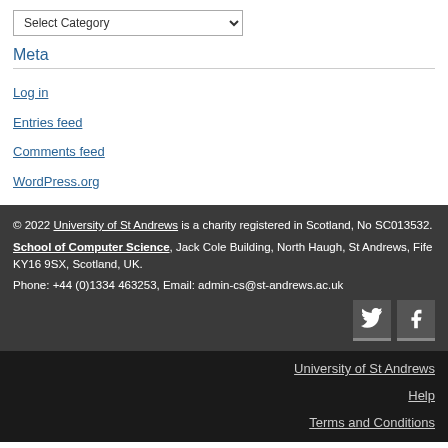Select Category (dropdown)
Meta
Log in
Entries feed
Comments feed
WordPress.org
© 2022 University of St Andrews is a charity registered in Scotland, No SC013532. School of Computer Science, Jack Cole Building, North Haugh, St Andrews, Fife KY16 9SX, Scotland, UK. Phone: +44 (0)1334 463253, Email: admin-cs@st-andrews.ac.uk
University of St Andrews | Help | Terms and Conditions